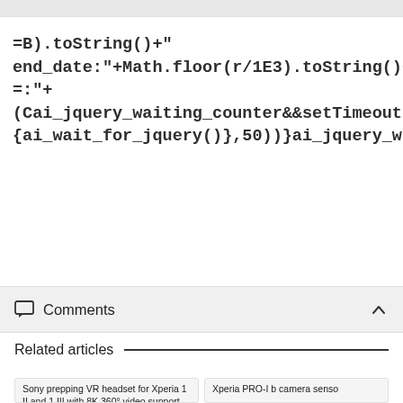=B).toString()+"end_date:"+Math.floor(r/1E3).toString()+"=:"+
(Cai_jquery_waiting_counter&&setTimeout
{ai_wait_for_jquery()},50))}ai_jquery_waiti
Comments
Related articles
Sony prepping VR headset for Xperia 1 II and 1 III with 8K 360° video support
Xperia PRO-I b camera senso